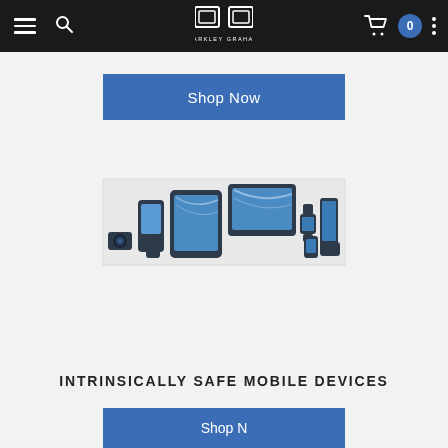Parkley Graham navigation bar with hamburger menu, search icon, logo, cart (0), and more options
Shop Now
[Figure (photo): A collection of intrinsically safe mobile devices including tablets, smartphones, handheld computers, wearables, and cameras arranged in a group product shot]
INTRINSICALLY SAFE MOBILE DEVICES
Shop Now